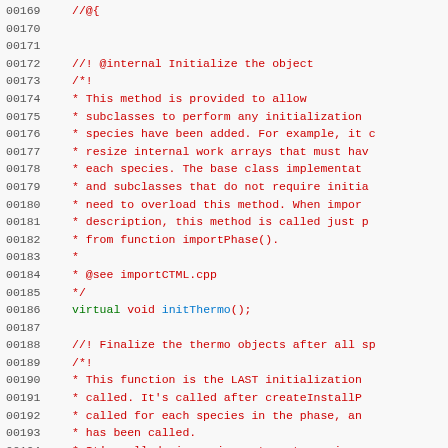Source code listing lines 00169–00198, showing C++ code with comments for initThermo and finalizeThermo methods.